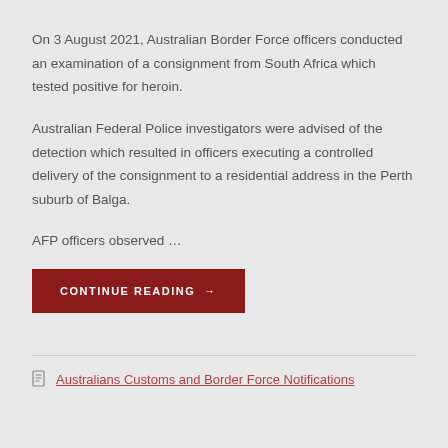On 3 August 2021, Australian Border Force officers conducted an examination of a consignment from South Africa which tested positive for heroin.
Australian Federal Police investigators were advised of the detection which resulted in officers executing a controlled delivery of the consignment to a residential address in the Perth suburb of Balga.
AFP officers observed …
CONTINUE READING →
Australians Customs and Border Force Notifications